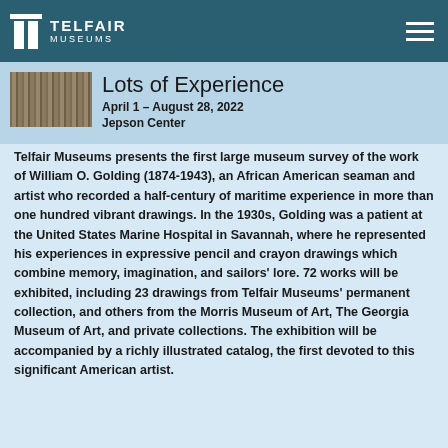TELFAIR MUSEUMS
[Figure (illustration): Thumbnail image of a maritime drawing, sepia-toned, showing ships or coastal scene]
Lots of Experience
April 1 – August 28, 2022
Jepson Center
Telfair Museums presents the first large museum survey of the work of William O. Golding (1874-1943), an African American seaman and artist who recorded a half-century of maritime experience in more than one hundred vibrant drawings. In the 1930s, Golding was a patient at the United States Marine Hospital in Savannah, where he represented his experiences in expressive pencil and crayon drawings which combine memory, imagination, and sailors' lore. 72 works will be exhibited, including 23 drawings from Telfair Museums' permanent collection, and others from the Morris Museum of Art, The Georgia Museum of Art, and private collections. The exhibition will be accompanied by a richly illustrated catalog, the first devoted to this significant American artist.